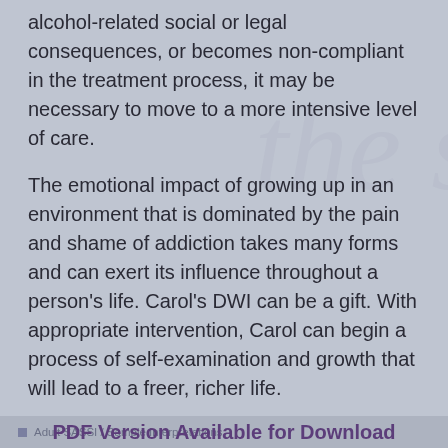alcohol-related social or legal consequences, or becomes non-compliant in the treatment process, it may be necessary to move to a more intensive level of care.
The emotional impact of growing up in an environment that is dominated by the pain and shame of addiction takes many forms and can exert its influence throughout a person's life. Carol's DWI can be a gift. With appropriate intervention, Carol can begin a process of self-examination and growth that will lead to a freer, richer life.
PDF Version Available for Download
Adult SASSI / Sample Interpretations